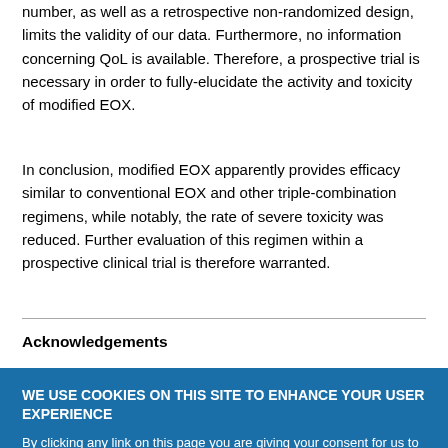number, as well as a retrospective non-randomized design, limits the validity of our data. Furthermore, no information concerning QoL is available. Therefore, a prospective trial is necessary in order to fully-elucidate the activity and toxicity of modified EOX.
In conclusion, modified EOX apparently provides efficacy similar to conventional EOX and other triple-combination regimens, while notably, the rate of severe toxicity was reduced. Further evaluation of this regimen within a prospective clinical trial is therefore warranted.
Acknowledgements
WE USE COOKIES ON THIS SITE TO ENHANCE YOUR USER EXPERIENCE

By clicking any link on this page you are giving your consent for us to set cookies.